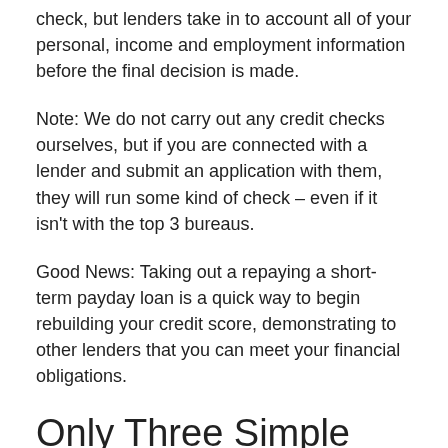check, but lenders take in to account all of your personal, income and employment information before the final decision is made.
Note: We do not carry out any credit checks ourselves, but if you are connected with a lender and submit an application with them, they will run some kind of check – even if it isn't with the top 3 bureaus.
Good News: Taking out a repaying a short-term payday loan is a quick way to begin rebuilding your credit score, demonstrating to other lenders that you can meet your financial obligations.
Only Three Simple Requirements
Are you over the age of 18, living in New Harmony, and are employed, self-employed or otherwise have a stable source of